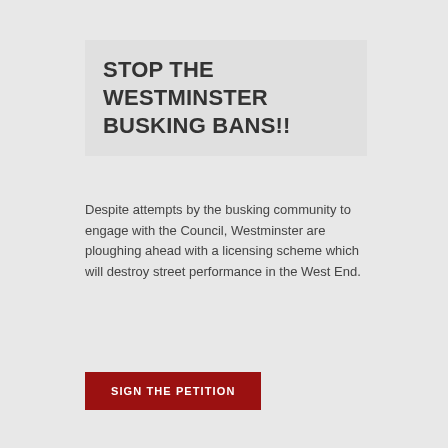STOP THE WESTMINSTER BUSKING BANS!!
Despite attempts by the busking community to engage with the Council, Westminster are ploughing ahead with a licensing scheme which will destroy street performance in the West End.
SIGN THE PETITION
Recent Comments
Chester Bingley on An outbreak of common sense..
Nigel Snookes aka Romanza Rose on An outbreak of common sense..